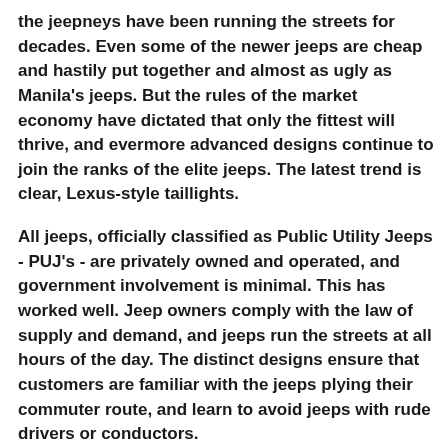the jeepneys have been running the streets for decades. Even some of the newer jeeps are cheap and hastily put together and almost as ugly as Manila's jeeps. But the rules of the market economy have dictated that only the fittest will thrive, and evermore advanced designs continue to join the ranks of the elite jeeps. The latest trend is clear, Lexus-style taillights.
All jeeps, officially classified as Public Utility Jeeps - PUJ's - are privately owned and operated, and government involvement is minimal. This has worked well. Jeep owners comply with the law of supply and demand, and jeeps run the streets at all hours of the day. The distinct designs ensure that customers are familiar with the jeeps plying their commuter route, and learn to avoid jeeps with rude drivers or conductors.
The LTFRB - Land Transportation Franchises Regulatory Board - grants licenses, or franchises to jeep operators. Cebu City's traffic control arm, CITOM, regulates traffic and routes in conjuction with the LTFRB. Standardized fares are set by the LTFRB. In May of 2004, the LTFRB permitted an increase in fares